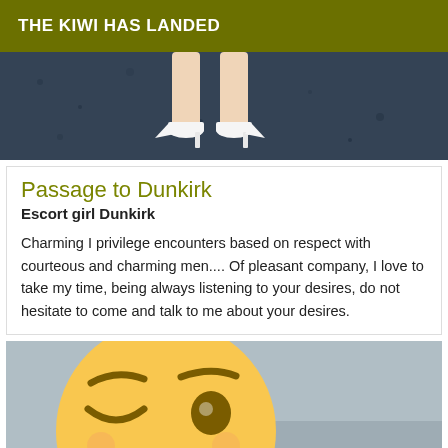THE KIWI HAS LANDED
[Figure (photo): Photo showing feet/legs in white high heeled shoes on dark pavement/ground]
Passage to Dunkirk
Escort girl Dunkirk
Charming I privilege encounters based on respect with courteous and charming men.... Of pleasant company, I love to take my time, being always listening to your desires, do not hesitate to come and talk to me about your desires.
[Figure (photo): Photo showing a large winking face emoji overlaid on what appears to be a person's lower body]